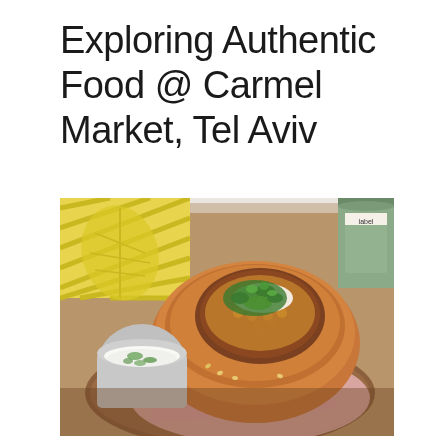Exploring Authentic Food @ Carmel Market, Tel Aviv
[Figure (photo): A bread bowl filled with a savory filling topped with fresh herbs and a drizzle of sauce, served on a wooden board alongside a small metal cup of white sauce with green herbs. In the background are yellow patterned items and a can. The food is wrapped in pink paper.]